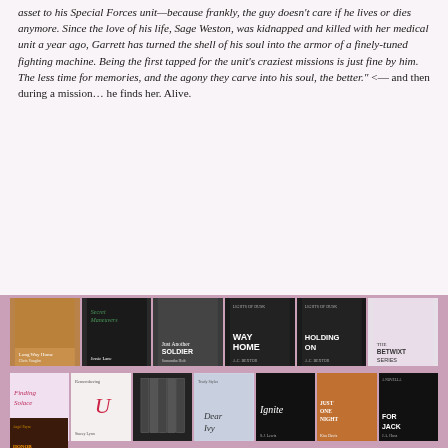asset to his Special Forces unit—because frankly, the guy doesn't care if he lives or dies anymore. Since the love of his life, Sage Weston, was kidnapped and killed with her medical unit a year ago, Garrett has turned the shell of his soul into the armor of a finely-tuned fighting machine. Being the first tapped for the unit's craziest missions is just fine by him. The less time for memories, and the agony they carve into his soul, the better." <— and then during a mission… he finds her. Alive.
[Figure (photo): Two rows of book covers for romance/military novels including: Long Way Home (Chris Vaughn), Secret Maneuvers (Jessie Lane), Just Another Soldier (Samantha Holt), Way Home (A.C. Bextor), Holding On (A.C. Bextor), Betwixt Series; Finding Solace, Remembering U (Stacey Lynn), a box set, a Trudy Styles book (Dear Ivy), Ignite (S.J. Lewis), Just One Night (Kira Davis), For Jack (J.A. Huss); plus a third row starting with an Angel Payne book.]